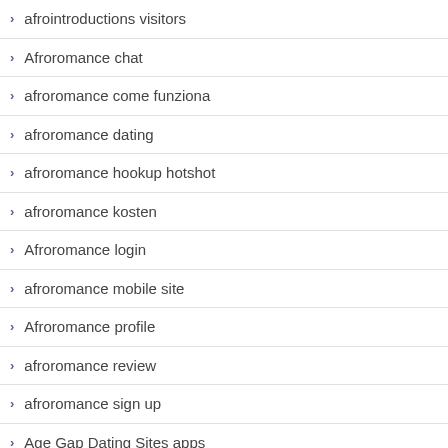afrointroductions visitors
Afroromance chat
afroromance come funziona
afroromance dating
afroromance hookup hotshot
afroromance kosten
Afroromance login
afroromance mobile site
Afroromance profile
afroromance review
afroromance sign up
Age Gap Dating Sites apps
Age Gap dating top sites
airg adult dating
airg dating